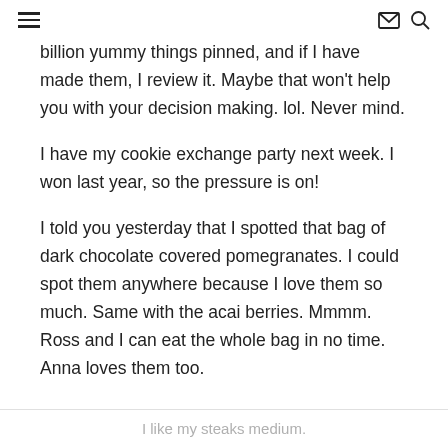≡  ✉ 🔍
billion yummy things pinned, and if I have made them, I review it. Maybe that won't help you with your decision making. lol. Never mind.
I have my cookie exchange party next week. I won last year, so the pressure is on!
I told you yesterday that I spotted that bag of dark chocolate covered pomegranates. I could spot them anywhere because I love them so much. Same with the acai berries. Mmmm. Ross and I can eat the whole bag in no time. Anna loves them too.
I like my steaks medium.